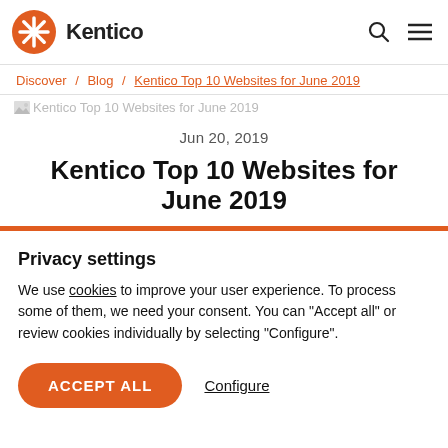Kentico
Discover / Blog / Kentico Top 10 Websites for June 2019
[Figure (screenshot): Article thumbnail image placeholder for Kentico Top 10 Websites for June 2019]
Jun 20, 2019
Kentico Top 10 Websites for June 2019
Privacy settings
We use cookies to improve your user experience. To process some of them, we need your consent. You can "Accept all" or review cookies individually by selecting "Configure".
ACCEPT ALL   Configure